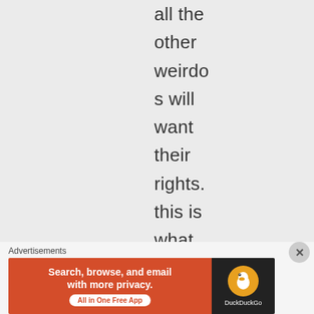all the other weirdos will want their rights. this is what your liberal agenda offers
Advertisements
[Figure (other): DuckDuckGo advertisement banner: 'Search, browse, and email with more privacy. All in One Free App' with DuckDuckGo logo on dark background]